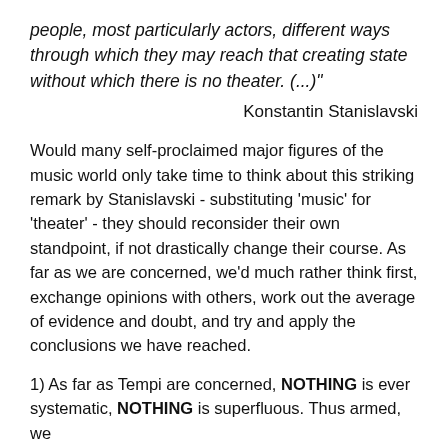people, most particularly actors, different ways through which they may reach that creating state without which there is no theater. (...)"
Konstantin Stanislavski
Would many self-proclaimed major figures of the music world only take time to think about this striking remark by Stanislavski - substituting 'music' for 'theater' - they should reconsider their own standpoint, if not drastically change their course. As far as we are concerned, we'd much rather think first, exchange opinions with others, work out the average of evidence and doubt, and try and apply the conclusions we have reached.
1) As far as Tempi are concerned, NOTHING is ever systematic, NOTHING is superfluous. Thus armed, we